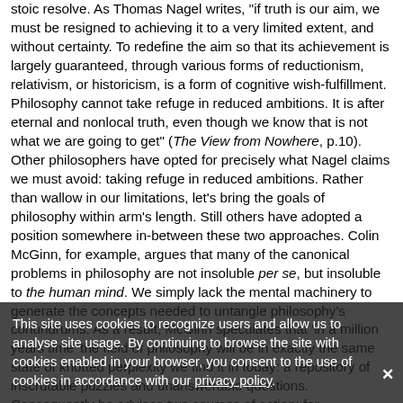stoic resolve. As Thomas Nagel writes, "if truth is our aim, we must be resigned to achieving it to a very limited extent, and without certainty. To redefine the aim so that its achievement is largely guaranteed, through various forms of reductionism, relativism, or historicism, is a form of cognitive wish-fulfillment. Philosophy cannot take refuge in reduced ambitions. It is after eternal and nonlocal truth, even though we know that is not what we are going to get" (The View from Nowhere, p.10). Other philosophers have opted for precisely what Nagel claims we must avoid: taking refuge in reduced ambitions. Rather than wallow in our limitations, let's bring the goals of philosophy within arm's length. Still others have adopted a position somewhere in-between these two approaches. Colin McGinn, for example, argues that many of the canonical problems in philosophy are not insoluble per se, but insoluble to the human mind. We simply lack the mental machinery to generate the concepts needed to untangle philosophy's conundrums. As a result, McGinn speculates that 'in a million years time' the field of philosophy will be in exactly the same state of knotted perplexity we find it in today: a repository of inscrutable puzzles and unanswerable questions. Consequently he advises two courses of action: for philosophers to continue working on the lesser goals of philosophy, such as 'conceptual analysis, the systemization of the sciences, ethics and politics, and no doubt other things' (Problems in Philosophy: The Limits of Inquiry, 1993).
This site uses cookies to recognize users and allow us to analyse site usage. By continuing to browse the site with cookies enabled in your browser, you consent to the use of cookies in accordance with our privacy policy.